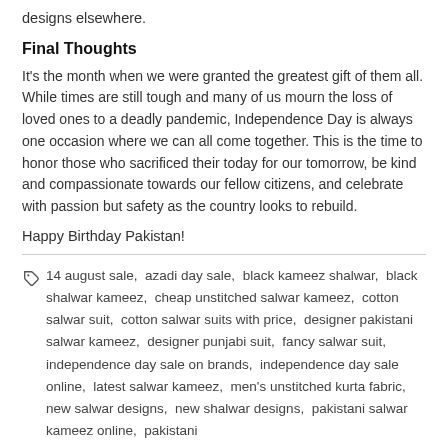designs elsewhere.
Final Thoughts
It's the month when we were granted the greatest gift of them all. While times are still tough and many of us mourn the loss of loved ones to a deadly pandemic, Independence Day is always one occasion where we can all come together. This is the time to honor those who sacrificed their today for our tomorrow, be kind and compassionate towards our fellow citizens, and celebrate with passion but safety as the country looks to rebuild.
Happy Birthday Pakistan!
14 august sale,  azadi day sale,  black kameez shalwar,  black shalwar kameez,  cheap unstitched salwar kameez,  cotton salwar suit,  cotton salwar suits with price,  designer pakistani salwar kameez,  designer punjabi suit,  fancy salwar suit,  independence day sale on brands,  independence day sale online,  latest salwar kameez,  men's unstitched kurta fabric,  new salwar designs,  new shalwar designs,  pakistani salwar kameez online,  pakistani